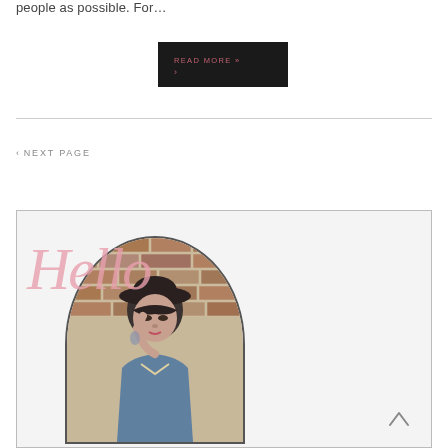people as possible.  For…
READ MORE »
›
‹ NEXT PAGE
[Figure (illustration): Sidebar widget with italic pink 'Hello' script text overlaid on a circular-cropped photo of a woman wearing a black hat in front of a brick wall, with a scroll-up arrow icon in the lower right.]